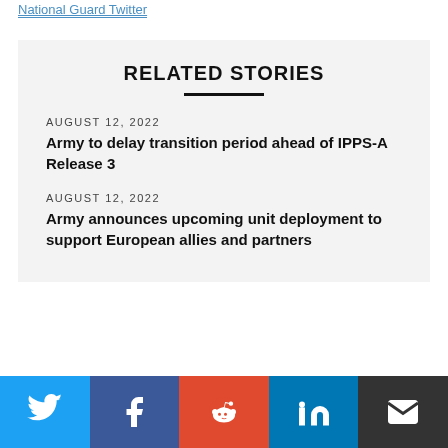National Guard Twitter
RELATED STORIES
AUGUST 12, 2022
Army to delay transition period ahead of IPPS-A Release 3
AUGUST 12, 2022
Army announces upcoming unit deployment to support European allies and partners